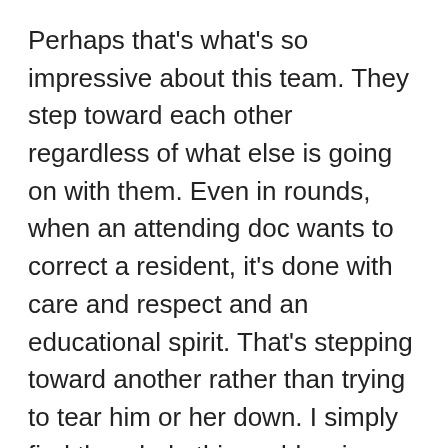Perhaps that's what's so impressive about this team. They step toward each other regardless of what else is going on with them. Even in rounds, when an attending doc wants to correct a resident, it's done with care and respect and an educational spirit. That's stepping toward another rather than trying to tear him or her down. I simply find the whole thing a blessing and am grateful to be in the middle of it as a participant observer.
As for Catherine, all this gratitude seems to be wrapping around her and serving